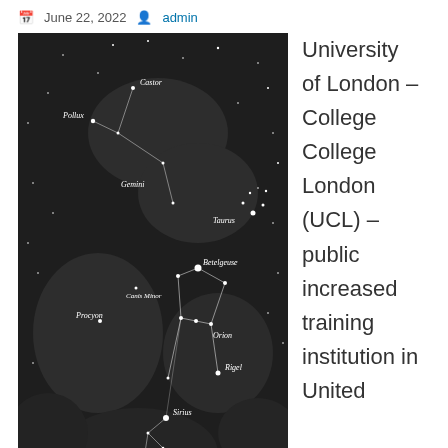June 22, 2022  admin
[Figure (photo): Night sky star map showing constellations including Orion, Gemini, Canis Major, Canis Minor, and Taurus with labeled stars Castor, Pollux, Gemini, Betelgeuse, Canis Minor, Procyon, Orion, Rigel, Sirius, Canis Major, Taurus. A silhouette of a person is visible at the bottom left.]
University of London – College College London (UCL) – public increased training institution in United Kingdom. To get rid of this, companies need to remove silos and produce development, security, and operations groups together in a
To get rid of this, companies need to remove silos and produce development, security, and operations groups together in a